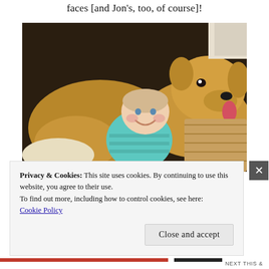faces [and Jon's, too, of course]!
[Figure (photo): A smiling toddler in a teal striped shirt lying on a golden retriever dog on a hardwood floor indoors.]
Privacy & Cookies: This site uses cookies. By continuing to use this website, you agree to their use. To find out more, including how to control cookies, see here: Cookie Policy
Close and accept